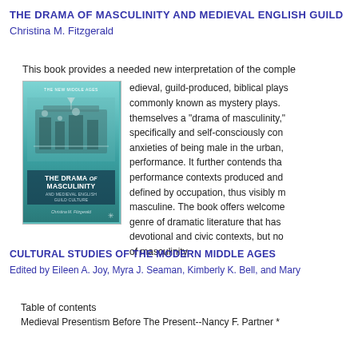THE DRAMA OF MASCULINITY AND MEDIEVAL ENGLISH GUILD
Christina M. Fitzgerald
This book provides a needed new interpretation of the comple edieval, guild-produced, biblical plays commonly known as mystery plays. themselves a "drama of masculinity," specifically and self-consciously con anxieties of being male in the urban, performance. It further contends tha performance contexts produced and defined by occupation, thus visibly m masculine. The book offers welcome genre of dramatic literature that has devotional and civic contexts, but no of masculinity.
[Figure (illustration): Book cover of 'The Drama of Masculinity and Medieval English Guild Culture' by Christina M. Fitzgerald, part of The New Middle Ages series. Teal/turquoise background with a historical scene illustration and title text block.]
CULTURAL STUDIES OF THE MODERN MIDDLE AGES
Edited by Eileen A. Joy, Myra J. Seaman, Kimberly K. Bell, and Mary
Table of contents
Medieval Presentism Before The Present--Nancy F. Partner *